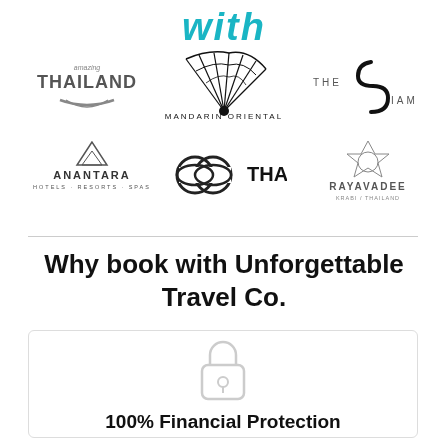with
[Figure (logo): Amazing Thailand logo]
[Figure (logo): Mandarin Oriental logo (fan)]
[Figure (logo): The Siam hotel logo]
[Figure (logo): Anantara Hotels Resorts Spas logo]
[Figure (logo): Thai Airways logo]
[Figure (logo): Rayavadee Krabi Thailand logo]
Why book with Unforgettable Travel Co.
[Figure (illustration): Padlock icon for financial protection]
100% Financial Protection